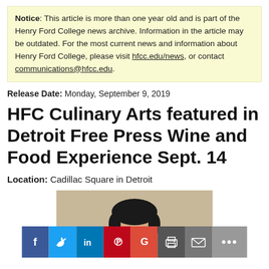Notice: This article is more than one year old and is part of the Henry Ford College news archive. Information in the article may be outdated. For the most current news and information about Henry Ford College, please visit hfcc.edu/news, or contact communications@hfcc.edu.
Release Date: Monday, September 9, 2019
HFC Culinary Arts featured in Detroit Free Press Wine and Food Experience Sept. 14
Location: Cadillac Square in Detroit
[Figure (photo): Photo of a person, partially visible, cropped at bottom with social media sharing bar overlay]
[Figure (infographic): Social media sharing bar with icons for Facebook, Twitter, LinkedIn, Pinterest, Google+, Print, Email, and More]